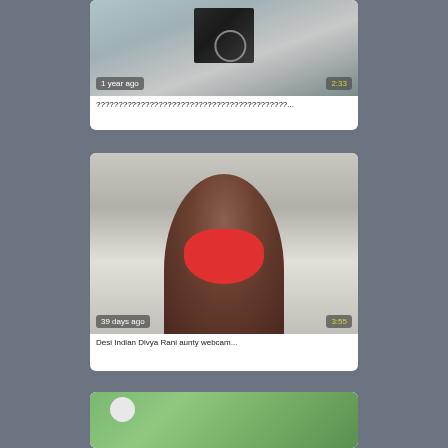[Figure (screenshot): Video thumbnail card 1: partial view of a person with a headphone wire visible, timestamp '1 year ago', duration '2:33'. Title shows question marks.]
???????????????????????????????????????????...
[Figure (screenshot): Video thumbnail card 2: woman wearing a red face mask and pink bra, timestamp '39 days ago', duration '3:55'.]
Desi Indian Divya Rani aunty webcam...
[Figure (screenshot): Video thumbnail card 3 (partial): outdoor scene with greenery, a white spherical object visible.]